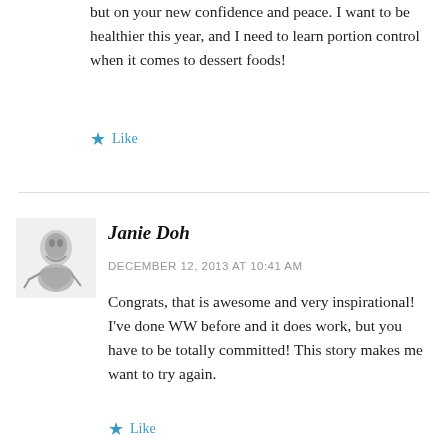but on your new confidence and peace. I want to be healthier this year, and I need to learn portion control when it comes to dessert foods!
Like
Janie Doh
DECEMBER 12, 2013 AT 10:41 AM
Congrats, that is awesome and very inspirational! I've done WW before and it does work, but you have to be totally committed! This story makes me want to try again.
Like